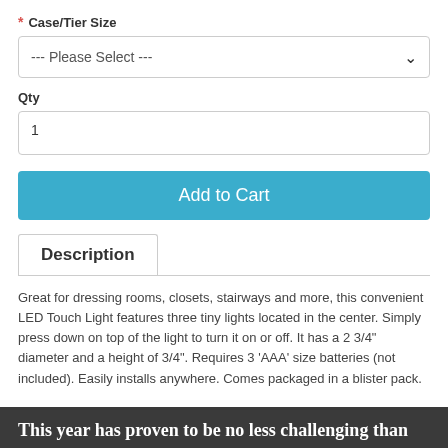* Case/Tier Size
--- Please Select ---
Qty
1
Add to Cart
Description
Great for dressing rooms, closets, stairways and more, this convenient LED Touch Light features three tiny lights located in the center. Simply press down on top of the light to turn it on or off. It has a 2 3/4" diameter and a height of 3/4". Requires 3 'AAA' size batteries (not included). Easily installs anywhere. Comes packaged in a blister pack.
This year has proven to be no less challenging than